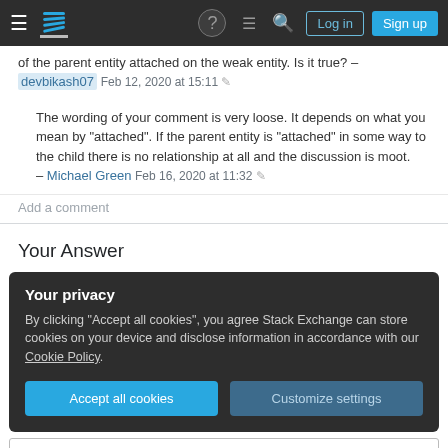Stack Exchange navigation bar with hamburger menu, logo, help, chat, search icons, Log in and Sign up buttons
of the parent entity attached on the weak entity. Is it true? – devbikash07 Feb 12, 2020 at 15:11
The wording of your comment is very loose. It depends on what you mean by "attached". If the parent entity is "attached" in some way to the child there is no relationship at all and the discussion is moot. – Michael Green Feb 16, 2020 at 11:32
Add a comment
Your Answer
Your privacy
By clicking "Accept all cookies", you agree Stack Exchange can store cookies on your device and disclose information in accordance with our Cookie Policy.
Accept all cookies   Customize settings